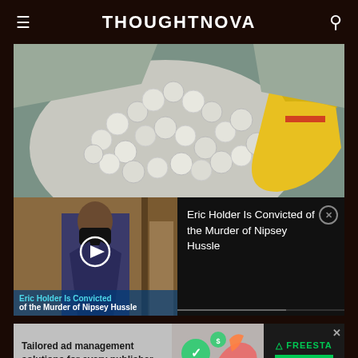THOUGHTNOVA
[Figure (photo): A large pile of white circular objects (pills/tablets) in a clear bag, with a yellow bag visible in the background, placed on a gray surface.]
[Figure (screenshot): Video thumbnail showing a man in a suit wearing a black mask. Text overlay reads: Eric Holder Is Convicted of the Murder of Nipsey Hussle. A play button is visible.]
Eric Holder Is Convicted of the Murder of Nipsey Hussle
[Figure (other): Advertisement banner for Freesta: Tailored ad management solutions for every publisher. Features a LEARN MORE button.]